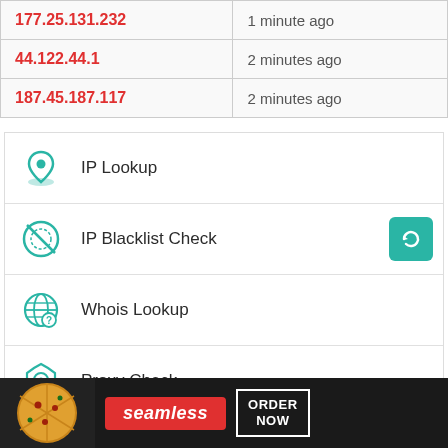| IP Address | Time |
| --- | --- |
| 177.25.131.232 | 1 minute ago |
| 44.122.44.1 | 2 minutes ago |
| 187.45.187.117 | 2 minutes ago |
IP Lookup
IP Blacklist Check
Whois Lookup
Proxy Check
DNS Lookup
IP to Hostname lookup
[Figure (screenshot): Seamless food delivery advertisement banner with pizza image, Seamless logo and ORDER NOW button]